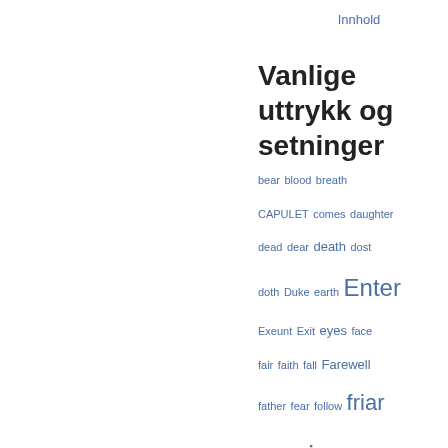Innhold
Vanlige uttrykk og setninger
bear blood breath CAPULET comes daughter dead dear death dost doth Duke earth Enter Exeunt Exit eyes face fair faith fall Farewell father fear follow friar gentle give gone grace Hamlet hand hath head hear heart heaven hence hold Horatio hour I'll Juliet keep King lady Laer